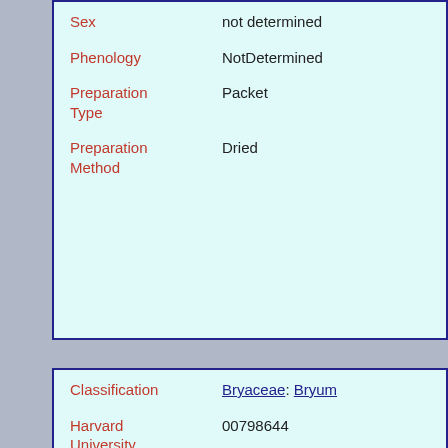| Field | Value |
| --- | --- |
| Sex | not determined |
| Phenology | NotDetermined |
| Preparation Type | Packet |
| Preparation Method | Dried |
| Field | Value |
| --- | --- |
| Classification | Bryaceae: Bryum |
| Harvard University Herbaria Barcode(s) | 00798644 |
| Collector | C. V. Piper |
| Country | United States of America |
| State | Washington |
| Geography | North America: North America (CA, US, MX) (Region): United States of America: Washington: King County: Seattle |
| Locality | [no additional data] |
| Date Collected | 1891 |